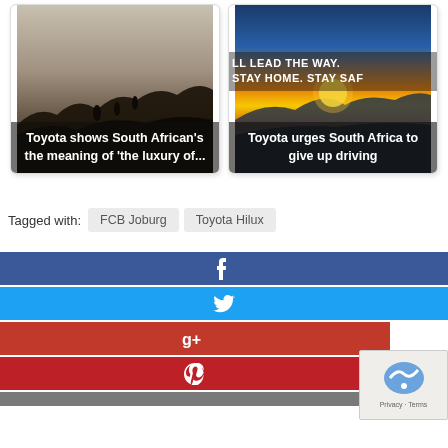[Figure (photo): Card with dark mountain silhouette background image showing hikers, with overlay text: Toyota shows South African's the meaning of 'the luxury of...']
[Figure (photo): Card with sunset background image with text 'LL LEAD THE WAY. STAY HOME. STAY SAF' overlaid, and lower overlay text: Toyota urges South Africa to give up driving]
Tagged with: FCB Joburg  Toyota Hilux
[Figure (infographic): Social share buttons: Facebook (dark blue with f icon), Twitter (light blue with bird icon), Google+ (red with g+ icon), Pinterest (darker red with P icon), and a partial bottom button]